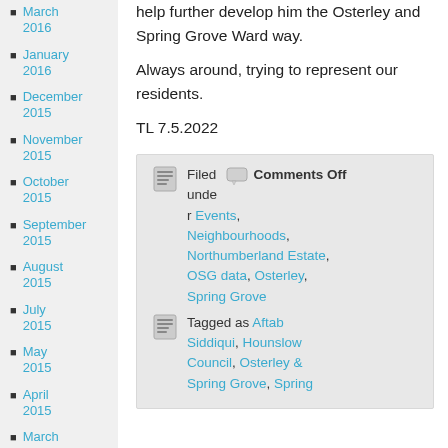March 2016
January 2016
December 2015
November 2015
October 2015
September 2015
August 2015
July 2015
May 2015
April 2015
March 2015
help further develop him the Osterley and Spring Grove Ward way.

Always around, trying to represent our residents.

TL 7.5.2022
Filed Comments Off under Events, Neighbourhoods, Northumberland Estate, OSG data, Osterley, Spring Grove
Tagged as Aftab Siddiqui, Hounslow Council, Osterley & Spring Grove, Spring